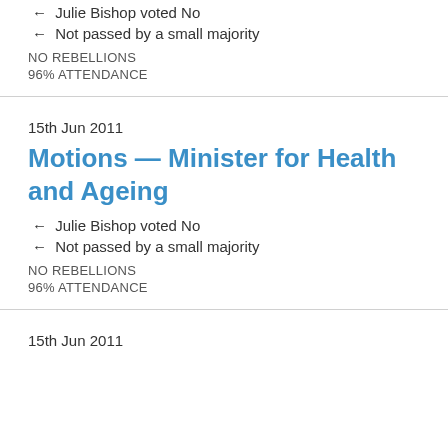← Julie Bishop voted No
← Not passed by a small majority
NO REBELLIONS
96% ATTENDANCE
15th Jun 2011
Motions — Minister for Health and Ageing
← Julie Bishop voted No
← Not passed by a small majority
NO REBELLIONS
96% ATTENDANCE
15th Jun 2011